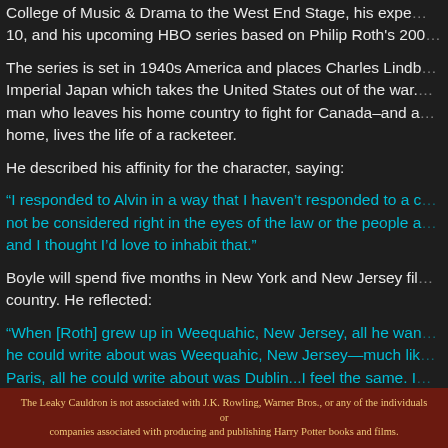College of Music & Drama to the West End Stage, his expe... 10, and his upcoming HBO series based on Philip Roth's 200...
The series is set in 1940s America and places Charles Lindb... Imperial Japan which takes the United States out of the war. ... man who leaves his home country to fight for Canada–and a... home, lives the life of a racketeer.
He described his affinity for the character, saying:
“I responded to Alvin in a way that I haven’t responded to a c... not be considered right in the eyes of the law or the people a... and I thought I’d love to inhabit that.”
Boyle will spend five months in New York and New Jersey fil... country. He reflected:
“When [Roth] grew up in Weequahic, New Jersey, all he wan... he could write about was Weequahic, New Jersey—much lik... Paris, all he could write about was Dublin...I feel the same. I...
The Leaky Cauldron is not associated with J.K. Rowling, Warner Bros., or any of the individuals or companies associated with producing and publishing Harry Potter books and films.